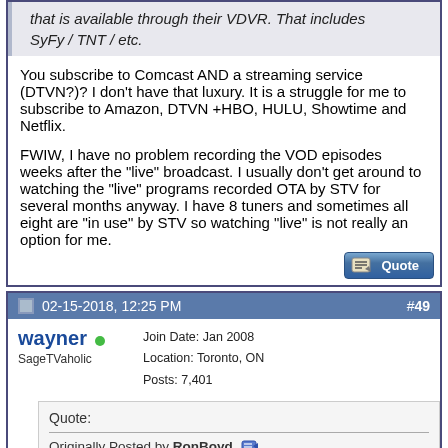that is available through their VDVR. That includes SyFy / TNT / etc.
You subscribe to Comcast AND a streaming service (DTVN?)? I don't have that luxury. It is a struggle for me to subscribe to Amazon, DTVN +HBO, HULU, Showtime and Netflix.

FWIW, I have no problem recording the VOD episodes weeks after the "live" broadcast. I usually don't get around to watching the "live" programs recorded OTA by STV for several months anyway. I have 8 tuners and sometimes all eight are "in use" by STV so watching "live" is not really an option for me.
02-15-2018, 12:25 PM  #49
wayner
SageTVaholic
Join Date: Jan 2008
Location: Toronto, ON
Posts: 7,401
Quote:
Originally Posted by RonBoyd
Is that what this is all about?
http://androidpcreview.com/tv-box-start-here/
Actually no. AndroidTV boxes are what Reggie described.